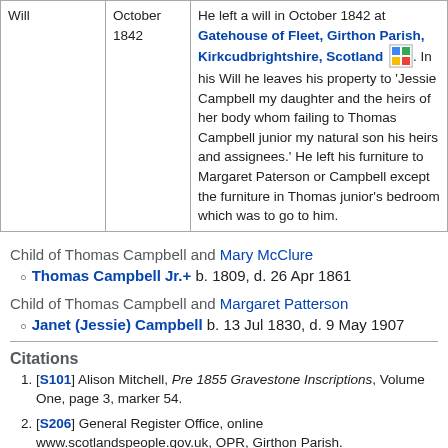|  |  |  |
| --- | --- | --- |
| Will | October 1842 | He left a will in October 1842 at Gatehouse of Fleet, Girthon Parish, Kirkcudbrightshire, Scotland [map]. In his Will he leaves his property to 'Jessie Campbell my daughter and the heirs of her body whom failing to Thomas Campbell junior my natural son his heirs and assignees.' He left his furniture to Margaret Paterson or Campbell except the furniture in Thomas junior's bedroom which was to go to him. |
Child of Thomas Campbell and Mary McClure
Thomas Campbell Jr.+ b. 1809, d. 26 Apr 1861
Child of Thomas Campbell and Margaret Patterson
Janet (Jessie) Campbell b. 13 Jul 1830, d. 9 May 1907
Citations
[S101] Alison Mitchell, Pre 1855 Gravestone Inscriptions, Volume One, page 3, marker 54.
[S206] General Register Office, online www.scotlandspeople.gov.uk, OPR, Girthon Parish.
[S206] General Register Office, online www.scotlandspeople.gov.uk, 1841 Scotland Census.
[S101] Alison Mitchell, Pre 1855 Gravestone Inscriptions, Volume...